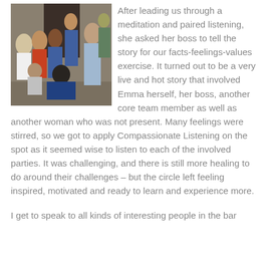[Figure (photo): Group photo of several people posing together outdoors near a building doorway; a mix of men and women, some smiling at the camera.]
After leading us through a meditation and paired listening, she asked her boss to tell the story for our facts-feelings-values exercise.  It turned out to be a very live and hot story that involved Emma herself, her boss, another core team member as well as another woman who was not present.  Many feelings were stirred, so we got to apply Compassionate Listening on the spot as it seemed wise to listen to each of the involved parties.  It was challenging, and there is still more healing to do around their challenges – but the circle left feeling inspired, motivated and ready to learn and experience more.
I get to speak to all kinds of interesting people in the bar